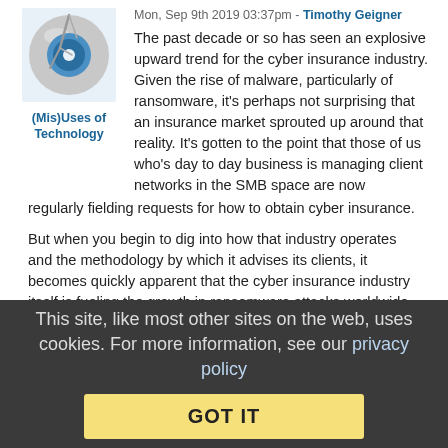[Figure (illustration): Broken CD/disk icon with a crack through it and a blue center, representing cybersecurity topic]
(Mis)Uses of Technology
Mon, Sep 9th 2019 03:37pm - Timothy Geigner
The past decade or so has seen an explosive upward trend for the cyber insurance industry. Given the rise of malware, particularly of ransomware, it's perhaps not surprising that an insurance market sprouted up around that reality. It's gotten to the point that those of us who's day to day business is managing client networks in the SMB space are now regularly fielding requests for how to obtain cyber insurance.
But when you begin to dig into how that industry operates and the methodology by which it advises its clients, it becomes quickly apparent that the cyber insurance industry itself is fueling the growth in ransomware attacks worldwide. ProPublica has a long and fascinating post on the topic, first discussing a real world example concerning a municipality that was hit with ransomware.
This site, like most other sites on the web, uses cookies. For more information, see our privacy policy
GOT IT